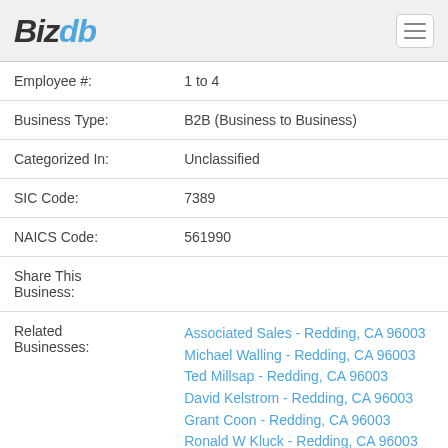BizDB
| Employee #: | 1 to 4 |
| Business Type: | B2B (Business to Business) |
| Categorized In: | Unclassified |
| SIC Code: | 7389 |
| NAICS Code: | 561990 |
| Share This Business: |  |
| Related Businesses: | Associated Sales - Redding, CA 96003
Michael Walling - Redding, CA 96003
Ted Millsap - Redding, CA 96003
David Kelstrom - Redding, CA 96003
Grant Coon - Redding, CA 96003
Ronald W Kluck - Redding, CA 96003
Tom Nelson - Redding, CA 96003
Sharon D Windsor - Redding, CA 96003 |